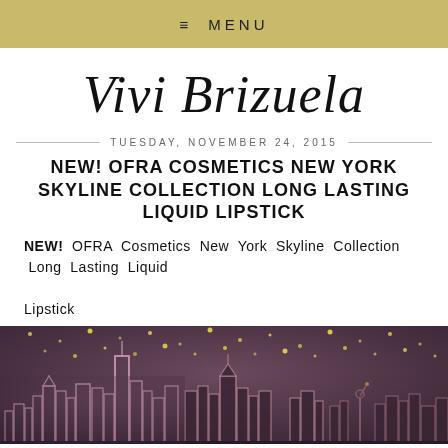≡ MENU
Vivi Brizuela
TUESDAY, NOVEMBER 24, 2015
NEW! OFRA COSMETICS NEW YORK SKYLINE COLLECTION LONG LASTING LIQUID LIPSTICK
NEW!  OFRA  Cosmetics  New  York  Skyline  Collection  Long  Lasting  Liquid  Lipstick
[Figure (illustration): Illustrated New York City skyline at night with glowing city lights and stars, pink/purple tones, promotional image for OFRA Cosmetics New York Skyline Collection]